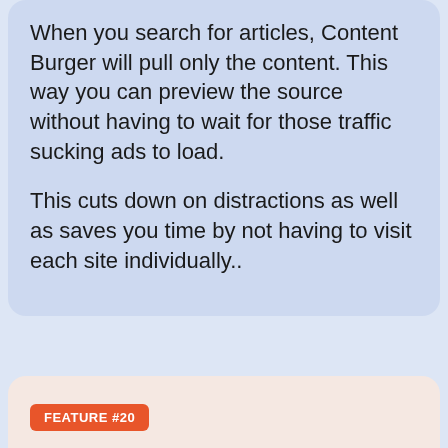When you search for articles, Content Burger will pull only the content. This way you can preview the source without having to wait for those traffic sucking ads to load.
This cuts down on distractions as well as saves you time by not having to visit each site individually..
FEATURE #20
Content Burger